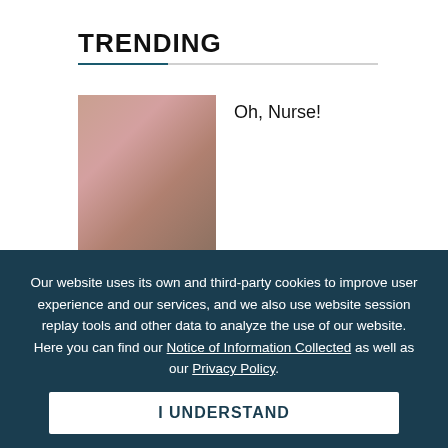TRENDING
Oh, Nurse!
HUSTLER Classic: Going Native
Our website uses its own and third-party cookies to improve user experience and our services, and we also use website session replay tools and other data to analyze the use of our website. Here you can find our Notice of Information Collected as well as our Privacy Policy.
I UNDERSTAND